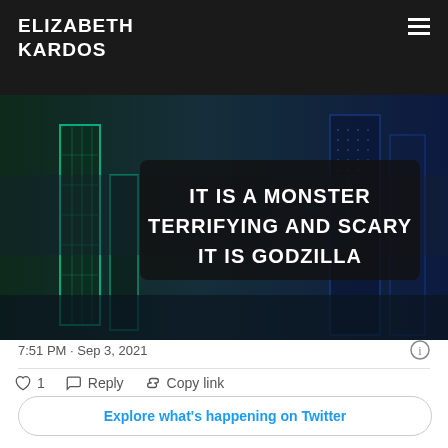ELIZABETH KARDOS
[Figure (screenshot): Dark sci-fi themed image with text overlay reading: IT IS A MONSTER TERRIFYING AND SCARY IT IS GODZILLA. Background shows glowing green and blue city/building elements.]
7:51 PM · Sep 3, 2021
1   Reply   Copy link
Explore what's happening on Twitter